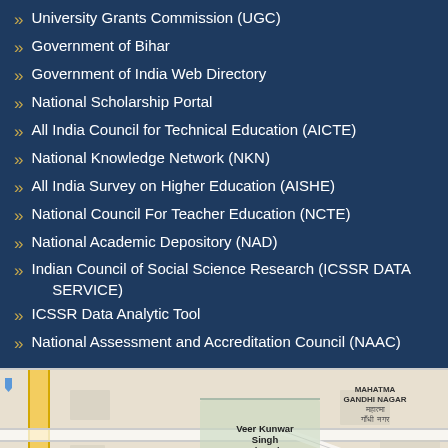University Grants Commission (UGC)
Government of Bihar
Government of India Web Directory
National Scholarship Portal
All India Council for Technical Education (AICTE)
National Knowledge Network (NKN)
All India Survey on Higher Education (AISHE)
National Council For Teacher Education (NCTE)
National Academic Depository (NAD)
Indian Council of Social Science Research (ICSSR DATA SERVICE)
ICSSR Data Analytic Tool
National Assessment and Accreditation Council (NAAC)
[Figure (map): Google Map showing Veer Kunwar Singh University area in Ara, Bihar, with landmarks including Mahatma Gandhi Nagar, Airan Devi temple, HD Jain College, and surrounding roads]